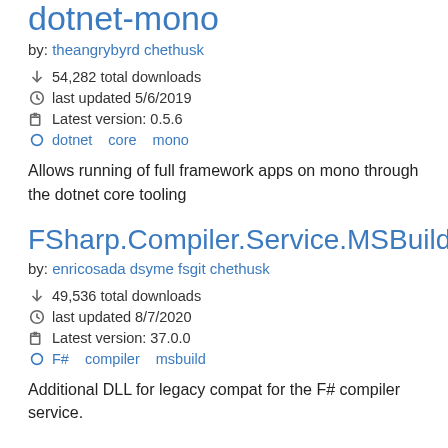dotnet-mono
by: theangrybyrd chethusk
54,282 total downloads
last updated 5/6/2019
Latest version: 0.5.6
dotnet core mono
Allows running of full framework apps on mono through the dotnet core tooling
FSharp.Compiler.Service.MSBuild.v12
by: enricosada dsyme fsgit chethusk
49,536 total downloads
last updated 8/7/2020
Latest version: 37.0.0
F# compiler msbuild
Additional DLL for legacy compat for the F# compiler service.